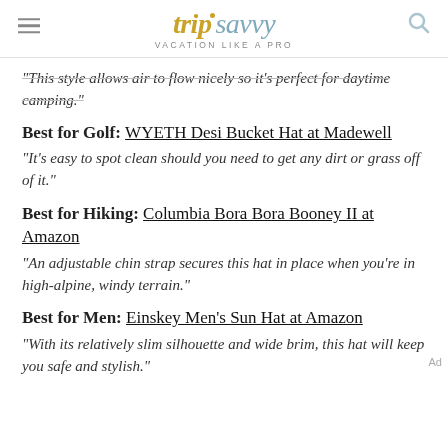tripsavvy VACATION LIKE A PRO
"This style allows air to flow nicely so it's perfect for daytime camping."
Best for Golf: WYETH Desi Bucket Hat at Madewell
"It's easy to spot clean should you need to get any dirt or grass off of it."
Best for Hiking: Columbia Bora Bora Booney II at Amazon
"An adjustable chin strap secures this hat in place when you're in high-alpine, windy terrain."
Best for Men: Einskey Men's Sun Hat at Amazon
"With its relatively slim silhouette and wide brim, this hat will keep you safe and stylish."